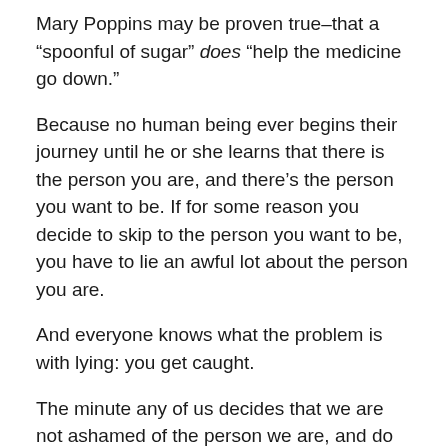Mary Poppins may be proven true–that a “spoonful of sugar” does “help the medicine go down.”
Because no human being ever begins their journey until he or she learns that there is the person you are, and there’s the person you want to be. If for some reason you decide to skip to the person you want to be, you have to lie an awful lot about the person you are.
And everyone knows what the problem is with lying: you get caught.
The minute any of us decides that we are not ashamed of the person we are, and do not walk away from the reality of our present situation, then we find ourselves in the position to negotiate–to seek and find ways to gradually become the person we want to be.